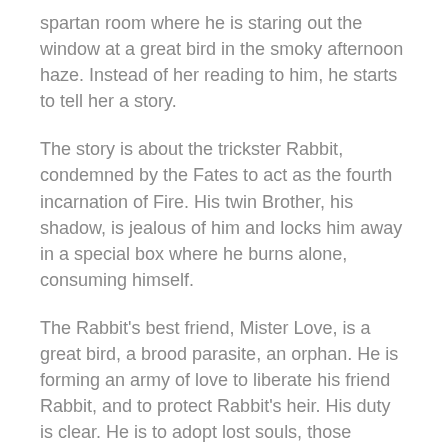spartan room where he is staring out the window at a great bird in the smoky afternoon haze. Instead of her reading to him, he starts to tell her a story.
The story is about the trickster Rabbit, condemned by the Fates to act as the fourth incarnation of Fire. His twin Brother, his shadow, is jealous of him and locks him away in a special box where he burns alone, consuming himself.
The Rabbit's best friend, Mister Love, is a great bird, a brood parasite, an orphan. He is forming an army of love to liberate his friend Rabbit, and to protect Rabbit's heir. His duty is clear. He is to adopt lost souls, those capable of giving love even if they have never received it. He travels with his people, ghosts, artists, and revolutionaries.
Rabbit's heir is a girl who lives alone, a refugee, in a land of perpetual darkness, in which she is the only burning light. She